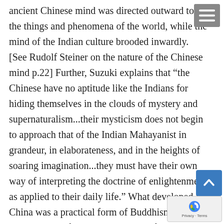ancient Chinese mind was directed outward to the things and phenomena of the world, while the mind of the Indian culture brooded inwardly. [See Rudolf Steiner on the nature of the Chinese mind p.22] Further, Suzuki explains that “the Chinese have no aptitude like the Indians for hiding themselves in the clouds of mystery and supernaturalism...their mysticism does not begin to approach that of the Indian Mahayanist in grandeur, in elaborateness, and in the heights of soaring imagination...they must have their own way of interpreting the doctrine of enlightenment as applied to their daily life.” What developed in China was a practical form of Buddhism with little or none of the accoutrements of the imagination or religion. “No rays are issuing from the Buddha’s forehead, no retinues Bodhisattvas reveal themselves before you, there is indeed nothing that would particularly strike your